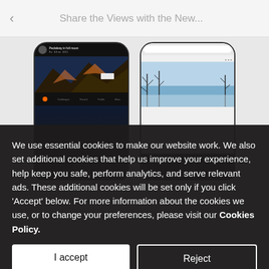Share the Views with the New...
[Figure (screenshot): Two smartphone screenshots side by side on a gray background. Left phone shows a hiking/trail app with mountain scenery and orange navigation bar. Right phone shows a web browser with a snowy winter landscape image.]
We use essential cookies to make our website work. We also set additional cookies that help us improve your experience, help keep you safe, perform analytics, and serve relevant ads. These additional cookies will be set only if you click 'Accept' below. For more information about the cookies we use, or to change your preferences, please visit our Cookies Policy.
I accept
Reject